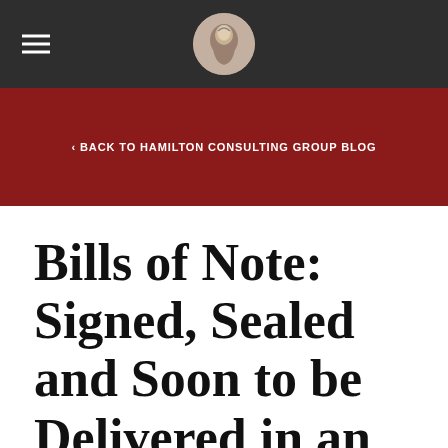≡  [Hamilton Consulting Group Logo]
‹ BACK TO HAMILTON CONSULTING GROUP BLOG
Bills of Note: Signed, Sealed and Soon to be Delivered in an Uber